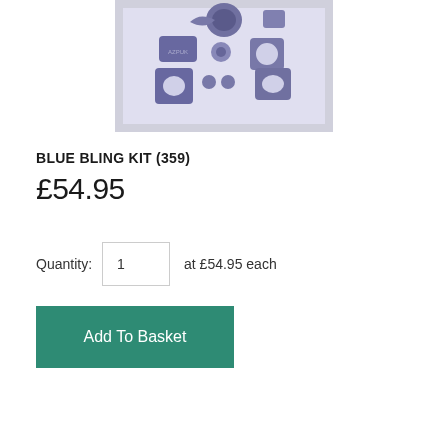[Figure (photo): Photo of a blue bling kit consisting of multiple anodized blue/purple metal parts including brackets, caps, bolts and other components laid out on a light background]
BLUE BLING KIT (359)
£54.95
Quantity:  1  at  £54.95  each
Add To Basket